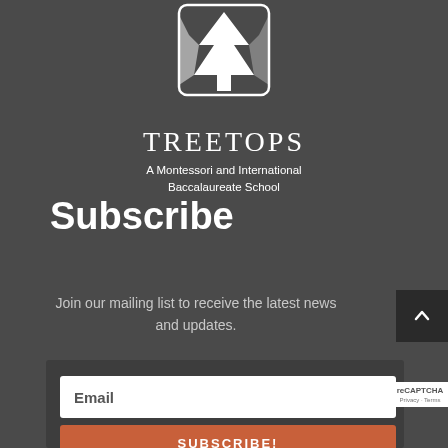[Figure (logo): Treetops school logo with tree graphic and text 'TREETOPS A Montessori and International Baccalaureate School']
Subscribe
Join our mailing list to receive the latest news and updates.
[Figure (screenshot): Email input field with label 'Email' and orange SUBSCRIBE! button below, with reCAPTCHA badge on the right]